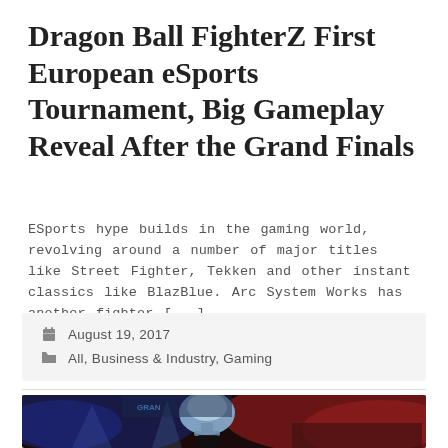Dragon Ball FighterZ First European eSports Tournament, Big Gameplay Reveal After the Grand Finals
ESports hype builds in the gaming world, revolving around a number of major titles like Street Fighter, Tekken and other instant classics like BlazBlue. Arc System Works has another fighter [...]
August 19, 2017
All, Business & Industry, Gaming
[Figure (photo): A person holding up a large trophy at an eSports event, with a crowd visible in the background illuminated by red and blue lights, on a stage with bright lighting.]